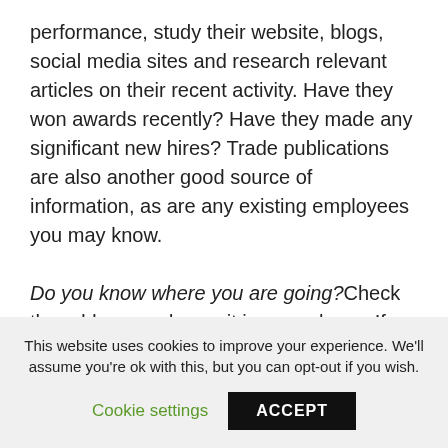performance, study their website, blogs, social media sites and research relevant articles on their recent activity. Have they won awards recently? Have they made any significant new hires? Trade publications are also another good source of information, as are any existing employees you may know.

Do you know where you are going? Check the address and save it in your phone. If you don't know the area and can't find it on a map, call your consultant for directions. Give yourself lots of time and aim to arrive 10 minutes early.
This website uses cookies to improve your experience. We'll assume you're ok with this, but you can opt-out if you wish.
Cookie settings    ACCEPT